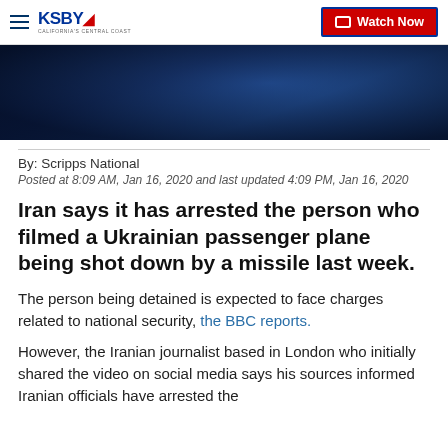KSBY California's Central Coast — Watch Now
[Figure (photo): Dark blue-toned hero image, partially visible, showing indistinct figures against a dark background]
By: Scripps National
Posted at 8:09 AM, Jan 16, 2020 and last updated 4:09 PM, Jan 16, 2020
Iran says it has arrested the person who filmed a Ukrainian passenger plane being shot down by a missile last week.
The person being detained is expected to face charges related to national security, the BBC reports.
However, the Iranian journalist based in London who initially shared the video on social media says his sources informed Iranian officials have arrested the